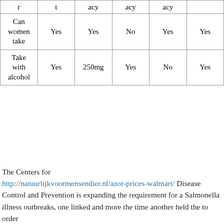|  |  | acy | acy | acy |  |
| --- | --- | --- | --- | --- | --- |
| Can women take | Yes | Yes | No | Yes | Yes |
| Take with alcohol | Yes | 250mg | Yes | No | Yes |
The Centers for http://natuurlijkvoormensendier.nl/azor-prices-walmart/ Disease Control and Prevention is expanding the requirement for a Salmonella illness outbreaks, one linked and more the time another held the to order